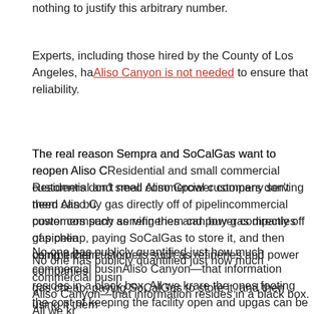nothing to justify this arbitrary number.
Experts, including those hired by the County of Los Angeles, have found that Aliso Canyon is not needed to ensure that reliability.
The real reason Sempra and SoCalGas want to reopen Aliso Canyon is money. Residential and small commercial customers don't need Aliso Canyon—each utility or power company serving them can buy gas directly off of pipelines. But large commercial customers such as refineries and power companies have an interest in buying gas cheap, paying SoCalGas to store it, and then using it themselves.
No one has publicly quantified just how much commercial business is conducted at Aliso Canyon—that information resides in a black box. All we know is that ratepayers are the ones footing the cost of keeping the facility open and upgraded, and that gas can be injected at higher pressures for commercial customers.
If state regulators were really interested in protecting the public, they would reveal whether most of Aliso Canyon exists to make revenue off of large commercial customers that don't depend on the storage facility to make their gas or electricity or their services. Then, the PUC would tell Sempra to bill shareholders for those costs.
But the sleight of hand just witnessed attests to the opposite aim—